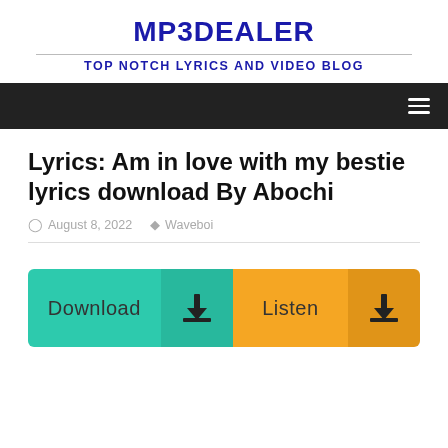MP3DEALER
TOP NOTCH LYRICS AND VIDEO BLOG
Lyrics: Am in love with my bestie lyrics download By Abochi
August 8, 2022  Waveboi
[Figure (other): Download and Listen buttons with download icons]